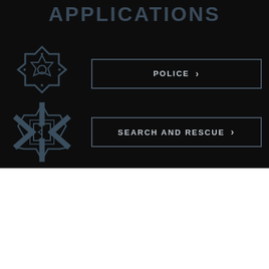APPLICATIONS
[Figure (illustration): Police badge / sheriff star icon in dark gray outline on black background]
POLICE >
[Figure (illustration): Star of Life / Search and Rescue medical icon in dark gray outline on black background]
SEARCH AND RESCUE >
By clicking “Accept All Cookies”, you agree to the storing of cookies on your device to enhance site navigation, analyze site usage, and assist in our marketing efforts.
×
Cookies Settings
Accept All Cookies